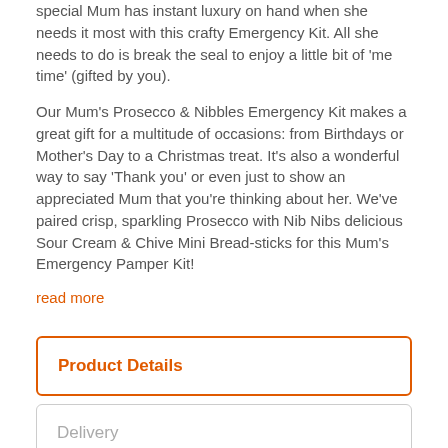special Mum has instant luxury on hand when she needs it most with this crafty Emergency Kit. All she needs to do is break the seal to enjoy a little bit of 'me time' (gifted by you).

Our Mum's Prosecco & Nibbles Emergency Kit makes a great gift for a multitude of occasions: from Birthdays or Mother's Day to a Christmas treat. It's also a wonderful way to say 'Thank you' or even just to show an appreciated Mum that you're thinking about her. We've paired crisp, sparkling Prosecco with Nib Nibs delicious Sour Cream & Chive Mini Bread-sticks for this Mum's Emergency Pamper Kit!
read more
Product Details
Delivery
Secure